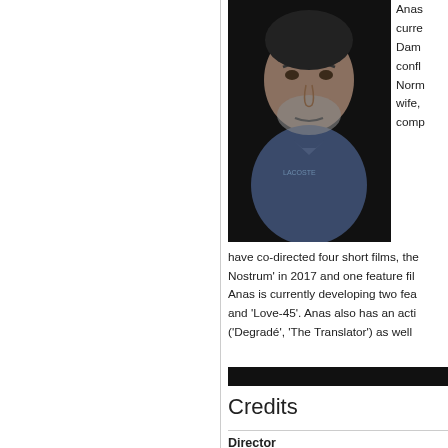[Figure (photo): Headshot of a middle-aged man with short gray beard, wearing a navy blue Lacoste polo shirt, dark background]
Anas is currently developing two feature films and 'Love-45'. Anas also has an acting career ('Degradé', 'The Translator') as well as...
have co-directed four short films, the documentary 'Mare Nostrum' in 2017 and one feature film. Anas is currently developing two feature films and 'Love-45'. Anas also has an acting career ('Degradé', 'The Translator') as well a
Credits
| Director |
| Screenwriter |
| Producer |